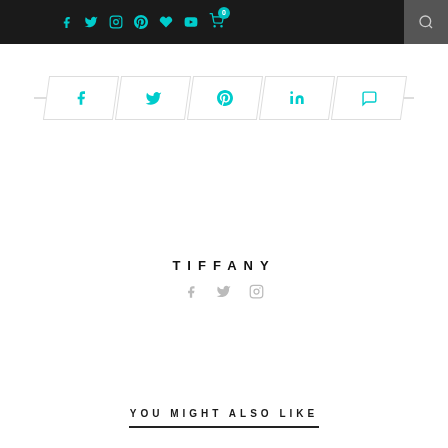Navigation bar with social icons: Facebook, Twitter, Instagram, Pinterest, Heart, YouTube, Cart (0), Search
[Figure (infographic): Social share buttons row: Facebook, Twitter, Pinterest, LinkedIn, Comment — displayed as parallelogram-shaped buttons with teal icons]
TIFFANY
[Figure (infographic): Author social icons: Facebook, Twitter, Instagram in light gray]
YOU MIGHT ALSO LIKE